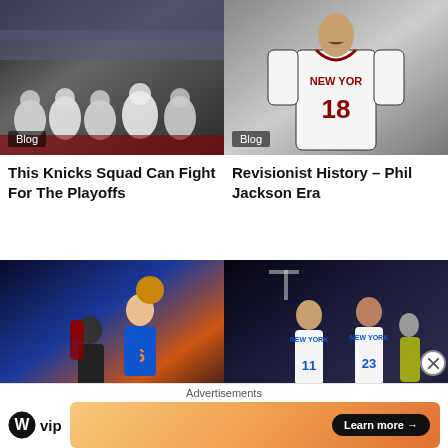[Figure (photo): NBA players sitting on bench courtside, crowd visible in background. 'Blog' badge in lower left.]
[Figure (photo): Basketball player in New York Knicks jersey #18, old era photo. 'Blog' badge in lower left.]
This Knicks Squad Can Fight For The Playoffs
Revisionist History – Phil Jackson Era
[Figure (photo): Kristaps Porzingis in Knicks orange jersey shooting over defender. 'Blog' badge in lower left.]
[Figure (photo): Two Knicks players #11 and #23 talking on court. 'Blog' badge in lower left.]
Is Porzingis a Legitimate…
Knicks Smash Hawks in…
Advertisements
[Figure (logo): WordPress VIP logo with WP circle icon and text 'vip']
[Figure (infographic): Orange gradient ad banner with 'Learn more →' button]